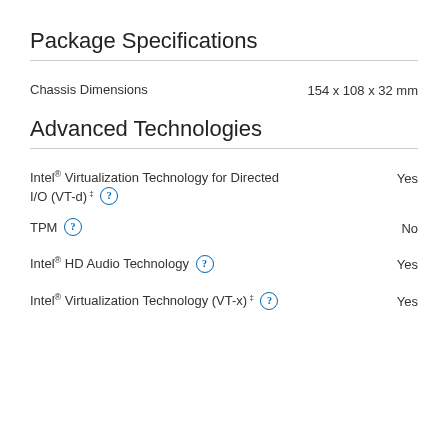Package Specifications
Chassis Dimensions	154 x 108 x 32 mm
Advanced Technologies
Intel® Virtualization Technology for Directed I/O (VT-d) ‡	Yes
TPM	No
Intel® HD Audio Technology	Yes
Intel® Virtualization Technology (VT-x) ‡	Yes